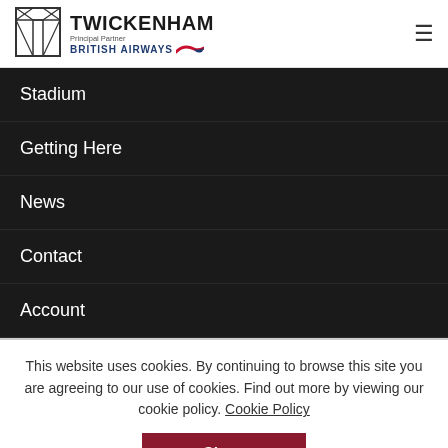Twickenham — Principal Partner British Airways
Stadium
Getting Here
News
Contact
Account
This website uses cookies. By continuing to browse this site you are agreeing to our use of cookies. Find out more by viewing our cookie policy. Cookie Policy
Close